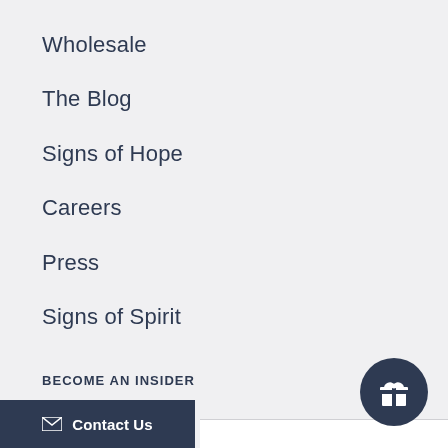Wholesale
The Blog
Signs of Hope
Careers
Press
Signs of Spirit
BECOME AN INSIDER
Contact Us